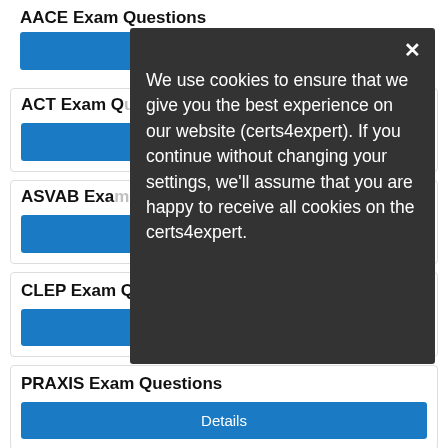AACE Exam Questions
[Figure (screenshot): Blue Details button (partial, clipped)]
ACT Exam Questions
[Figure (screenshot): Blue Details button (partial, clipped)]
ASVAB Exam Questions
[Figure (screenshot): Blue Details button (partial, clipped)]
[Figure (screenshot): Cookie consent modal: We use cookies to ensure that we give you the best experience on our website (certs4expert). If you continue without changing your settings, we'll assume that you are happy to receive all cookies on the certs4expert.]
CLEP Exam Questions
Details
PRAXIS Exam Questions
Details